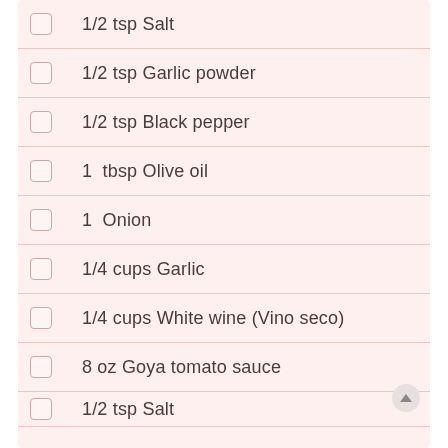1/2 tsp Salt
1/2 tsp Garlic powder
1/2 tsp Black pepper
1  tbsp Olive oil
1  Onion
1/4 cups Garlic
1/4 cups White wine (Vino seco)
8 oz Goya tomato sauce
1/2 tsp Salt